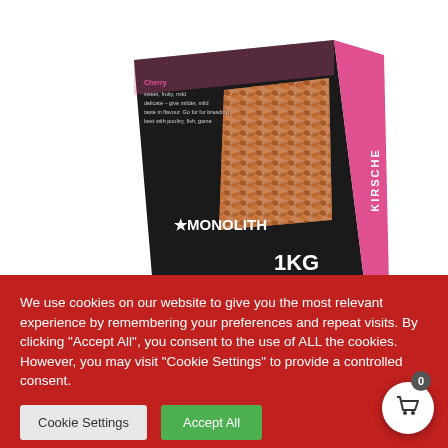[Figure (photo): Monolith brand cherry wood pellets 1KG product box - black and pink packaging with wood pellets visible through window]
[Figure (photo): Thumbnail strip showing four related product images: Monolith pellets box, outdoor grilling scene, ceramic grill top view, and grill accessories]
We use cookies on our website to give you the most relevant experience by remembering your preferences and repeat visits. By clicking "Accept All", you consent to the use of ALL the cookies. However, you may visit "Cookie Settings" to provide a controlled consent.